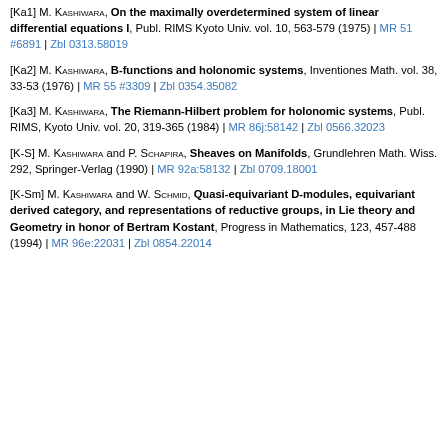[Ka1] M. Kashiwara, On the maximally overdetermined system of linear differential equations I, Publ. RIMS Kyoto Univ. vol. 10, 563-579 (1975) | MR 51 #6891 | Zbl 0313.58019
[Ka2] M. Kashiwara, B-functions and holonomic systems, Inventiones Math. vol. 38, 33-53 (1976) | MR 55 #3309 | Zbl 0354.35082
[Ka3] M. Kashiwara, The Riemann-Hilbert problem for holonomic systems, Publ. RIMS, Kyoto Univ. vol. 20, 319-365 (1984) | MR 86j:58142 | Zbl 0566.32023
[K-S] M. Kashiwara and P. Schapira, Sheaves on Manifolds, Grundlehren Math. Wiss. 292, Springer-Verlag (1990) | MR 92a:58132 | Zbl 0709.18001
[K-Sm] M. Kashiwara and W. Schmid, Quasi-equivariant D-modules, equivariant derived category, and representations of reductive groups, in Lie theory and Geometry in honor of Bertram Kostant, Progress in Mathematics, 123, 457-488 (1994) | MR 96e:22031 | Zbl 0854.22014